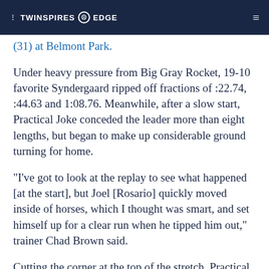THE TWINSPIRES EDGE
(31) at Belmont Park.
Under heavy pressure from Big Gray Rocket, 19-10 favorite Syndergaard ripped off fractions of :22.74, :44.63 and 1:08.76. Meanwhile, after a slow start, Practical Joke conceded the leader more than eight lengths, but began to make up considerable ground turning for home.
"I've got to look at the replay to see what happened [at the start], but Joel [Rosario] quickly moved inside of horses, which I thought was smart, and set himself up for a clear run when he tipped him out," trainer Chad Brown said.
Cutting the corner at the top of the stretch, Practical Joke figured to blow past Syndergaard,